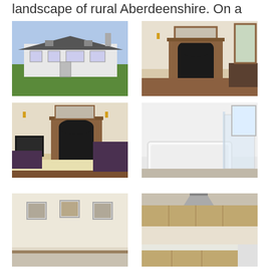landscape of rural Aberdeenshire. On a ....
[Figure (photo): Exterior photo of a white-painted single-storey cottage with slate roof and green lawn]
[Figure (photo): Interior photo of a living room with ornate black fireplace and wooden mantelpiece]
[Figure (photo): Interior photo of a living room with ornate black fireplace, TV, and wooden coffee table]
[Figure (photo): Interior photo of a bathroom with white bath tub and glass shower screen]
[Figure (photo): Interior photo of a bedroom with framed pictures on wall]
[Figure (photo): Interior photo of a modern kitchen with wooden cabinets and pendant light]